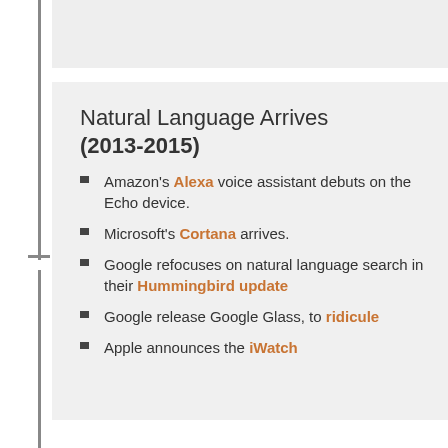Natural Language Arrives (2013-2015)
Amazon's Alexa voice assistant debuts on the Echo device.
Microsoft's Cortana arrives.
Google refocuses on natural language search in their Hummingbird update
Google release Google Glass, to ridicule
Apple announces the iWatch